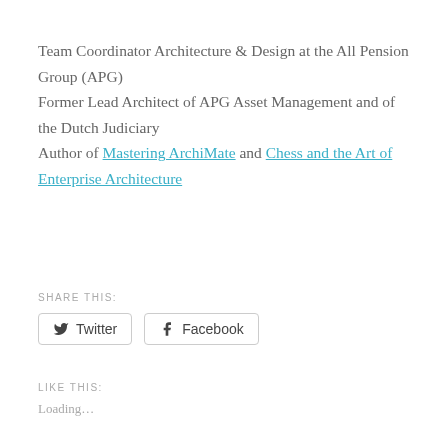Team Coordinator Architecture & Design at the All Pension Group (APG)
Former Lead Architect of APG Asset Management and of the Dutch Judiciary
Author of Mastering ArchiMate and Chess and the Art of Enterprise Architecture
SHARE THIS:
Twitter  Facebook
LIKE THIS:
Loading…